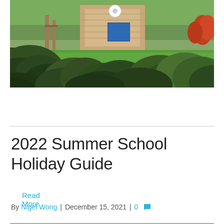[Figure (photo): Outdoor scene viewed through blurred green foliage in the foreground. In the background, a wooden building structure is visible with a circular logo/sign, a blue panel, green grass, and trees under bright sunlight — appears to be a school camp or outdoor education facility.]
Read More
2022 Summer School Holiday Guide
By Nigel Wong | December 15, 2021 | 0